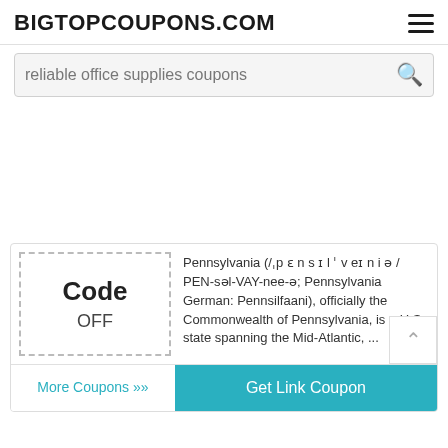BIGTOPCOUPONS.COM
reliable office supplies coupons
[Figure (other): Large blank white advertisement space]
Code OFF
Pennsylvania (/ˌpɛnsɪlˈveɪniə/ PEN-səl-VAY-nee-ə; Pennsylvania German: Pennslfaani), officially the Commonwealth of Pennsylvania, is a U.S. state spanning the Mid-Atlantic, ...
More Coupons ›› | Get Link Coupon